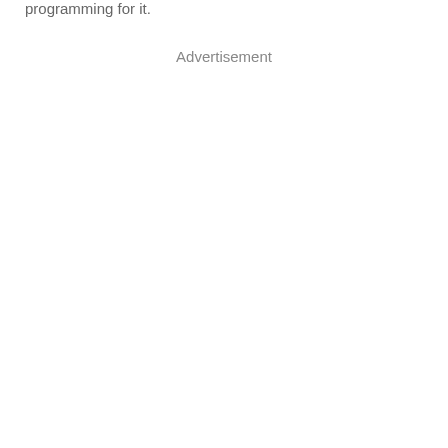programming for it.
Advertisement